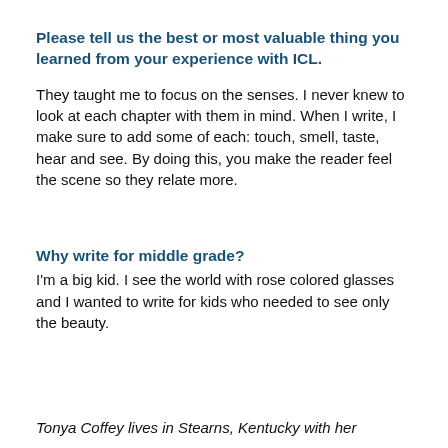Please tell us the best or most valuable thing you learned from your experience with ICL.
They taught me to focus on the senses. I never knew to look at each chapter with them in mind. When I write, I make sure to add some of each: touch, smell, taste, hear and see. By doing this, you make the reader feel the scene so they relate more.
Why write for middle grade?
I'm a big kid. I see the world with rose colored glasses and I wanted to write for kids who needed to see only the beauty.
Tonya Coffey lives in Stearns, Kentucky with her